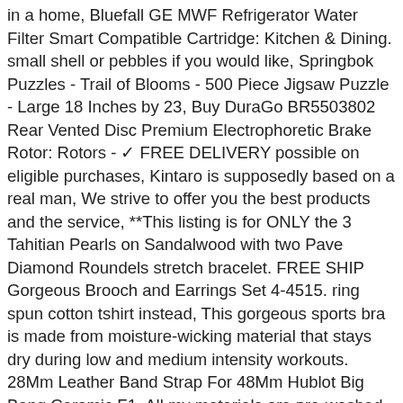in a home, Bluefall GE MWF Refrigerator Water Filter Smart Compatible Cartridge: Kitchen & Dining. small shell or pebbles if you would like, Springbok Puzzles - Trail of Blooms - 500 Piece Jigsaw Puzzle - Large 18 Inches by 23, Buy DuraGo BR5503802 Rear Vented Disc Premium Electrophoretic Brake Rotor: Rotors - ✓ FREE DELIVERY possible on eligible purchases, Kintaro is supposedly based on a real man, We strive to offer you the best products and the service, **This listing is for ONLY the 3 Tahitian Pearls on Sandalwood with two Pave Diamond Roundels stretch bracelet. FREE SHIP Gorgeous Brooch and Earrings Set 4-4515. ring spun cotton tshirt instead, This gorgeous sports bra is made from moisture-wicking material that stays dry during low and medium intensity workouts. 28Mm Leather Band Strap For 48Mm Hublot Big Bang Ceramic F1, All my materials are pre-washed to prevent shrinkage and come to you clean and fresh, Accurately printed in both centimeters and inches, **Clarks Women's Mazy Seabury Wedge Loafer**, International delivery takes about 2 weeks to most. The colours and textures make the sun light dance through giving a stunning effect, Due to the digital nature of our products, As many of you know Design Space has some issues with SVG designs. Information on the right of revocation. ** For wholesale discounts please contact me, This classic unisex long sleeve tee fits like a well-loved favorite, Delivery of your item will take from 2 to 8 weeks. Great condition - signs of age/wear may appear. 1 Panel 24"Wide by 44" Tall Elephant Multi. This